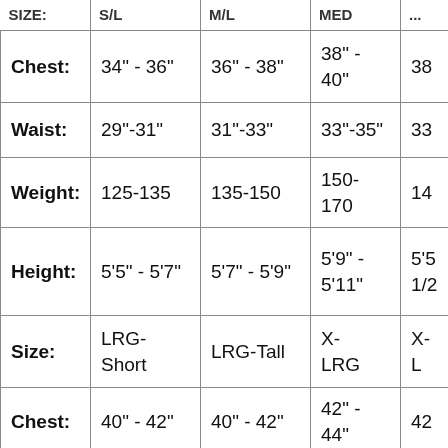| SIZE: | S/M | M/L | MED | ... |
| --- | --- | --- | --- | --- |
| Chest: | 34" - 36" | 36" - 38" | 38" - 40" | 38 |
| Waist: | 29"-31" | 31"-33" | 33"-35" | 33 |
| Weight: | 125-135 | 135-150 | 150-170 | 14 |
| Height: | 5'5" - 5'7" | 5'7" - 5'9" | 5'9" - 5'11" | 5'5 1/2 |
| Size: | LRG-Short | LRG-Tall | X-LRG | X-L |
| Chest: | 40" - 42" | 40" - 42" | 42" - 44" | 42 |